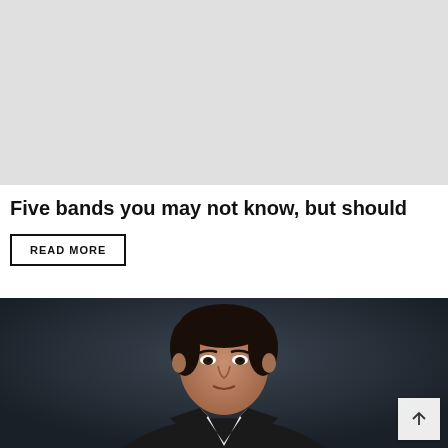[Figure (photo): Light gray placeholder image area at the top of the page]
Five bands you may not know, but should
READ MORE
[Figure (photo): Portrait photo of a man with dark hair, wearing a dark jacket over a white v-neck t-shirt, looking directly at the camera against a dark background]
↑ (back to top button)